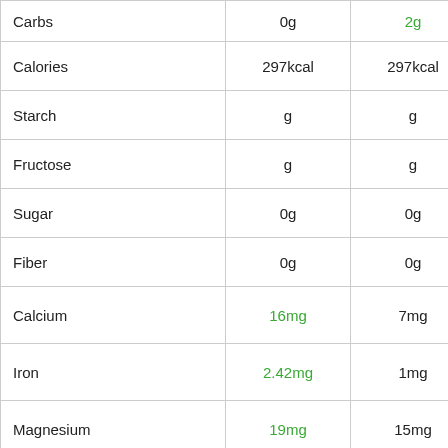| Nutrient | Value 1 | Value 2 | Food Image |
| --- | --- | --- | --- |
| Carbs | 0g | 2g |  |
| Calories | 297kcal | 297kcal |  |
| Starch | g | g |  |
| Fructose | g | g |  |
| Sugar | 0g | 0g |  |
| Fiber | 0g | 0g |  |
| Calcium | 16mg | 7mg | [food image] |
| Iron | 2.42mg | 1mg | [food image] |
| Magnesium | 19mg | 15mg | [food image] |
| Phosphorus | 174mg | 130mg | [food image] |